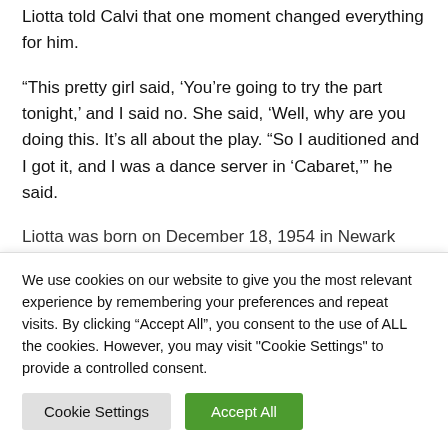Liotta told Calvi that one moment changed everything for him.
“This pretty girl said, ‘You’re going to try the part tonight,’ and I said no. She said, ‘Well, why are you doing this. It’s all about the play. “So I auditioned and I got it, and I was a dance server in ‘Cabaret,’” he said.
Liotta was born on December 18, 1954 in Newark and grew
We use cookies on our website to give you the most relevant experience by remembering your preferences and repeat visits. By clicking “Accept All”, you consent to the use of ALL the cookies. However, you may visit "Cookie Settings" to provide a controlled consent.